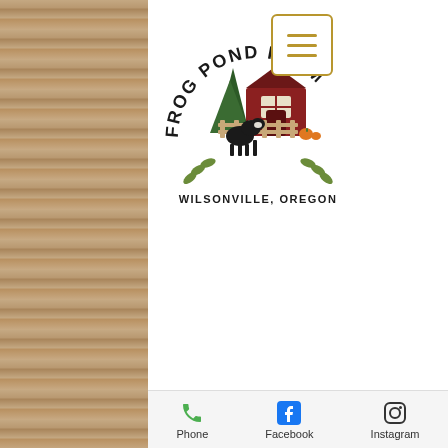[Figure (logo): Frog Pond Farm logo with red barn, trees, goat, text 'FROG POND FARM' arched above and 'WILSONVILLE, OREGON' below]
[Figure (infographic): Brown blob/seal shape with white italic text: 'Open Weekends', 'Wednesday - Sunday', '10 a.m. to 5 p.m.', '$10/person']
Phone   Facebook   Instagram